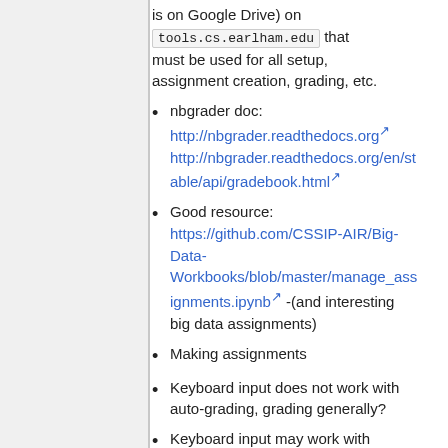is on Google Drive) on tools.cs.earlham.edu that must be used for all setup, assignment creation, grading, etc.
nbgrader doc: http://nbgrader.readthedocs.org http://nbgrader.readthedocs.org/en/stable/api/gradebook.html
Good resource: https://github.com/CSSIP-AIR/Big-Data-Workbooks/blob/master/manage_assignments.ipynb -(and interesting big data assignments)
Making assignments
Keyboard input does not work with auto-grading, grading generally?
Keyboard input may work with manual grading now
Notes to students (in each